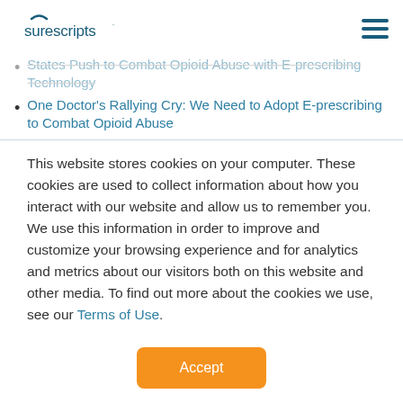Surescripts [logo] [hamburger menu]
States Push to Combat Opioid Abuse with E-prescribing Technology
One Doctor's Rallying Cry: We Need to Adopt E-prescribing to Combat Opioid Abuse
This website stores cookies on your computer. These cookies are used to collect information about how you interact with our website and allow us to remember you. We use this information in order to improve and customize your browsing experience and for analytics and metrics about our visitors both on this website and other media. To find out more about the cookies we use, see our Terms of Use.
Accept